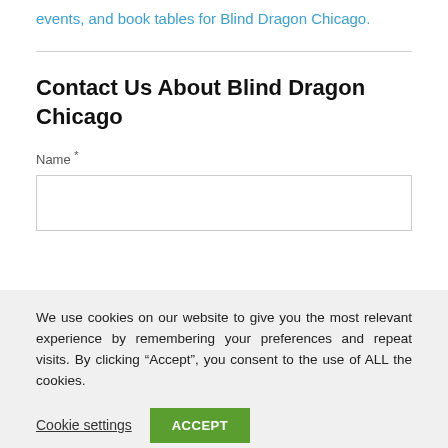events, and book tables for Blind Dragon Chicago.
Contact Us About Blind Dragon Chicago
Name *
We use cookies on our website to give you the most relevant experience by remembering your preferences and repeat visits. By clicking “Accept”, you consent to the use of ALL the cookies.
Cookie settings
ACCEPT